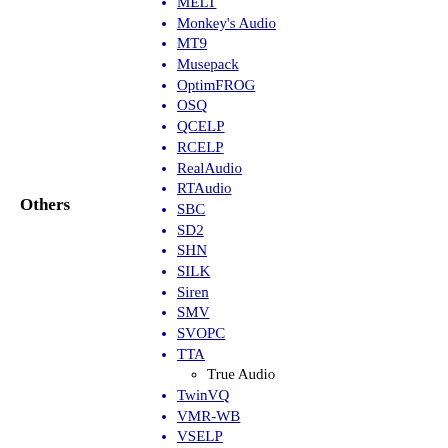Monkey's Audio
MT9
Musepack
OptimFROG
OSQ
QCELP
RCELP
RealAudio
RTAudio
SBC
Others
SD2
SHN
SILK
Siren
SMV
SVOPC
TTA
True Audio
TwinVQ
VMR-WB
VSELP
WavPack
WMA
MQA
aptX